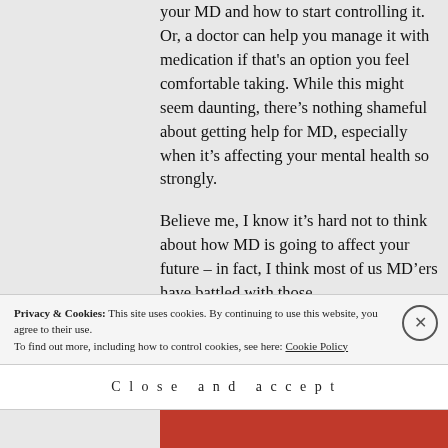your MD and how to start controlling it. Or, a doctor can help you manage it with medication if that's an option you feel comfortable taking. While this might seem daunting, there's nothing shameful about getting help for MD, especially when it's affecting your mental health so strongly.
Believe me, I know it's hard not to think about how MD is going to affect your future – in fact, I think most of us MD'ers have battled with those
Privacy & Cookies: This site uses cookies. By continuing to use this website, you agree to their use.
To find out more, including how to control cookies, see here: Cookie Policy
Close and accept